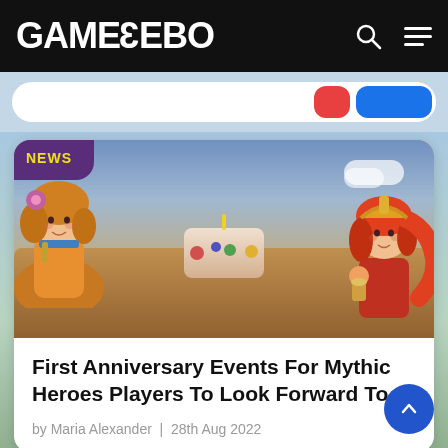GAMEZEBO
[Figure (illustration): Gamezebo website screenshot showing a game article card with anime-style characters at a birthday party celebration with cakes and decorations. NEWS badge in purple with yellow text in top-left of image.]
First Anniversary Events For Mythic Heroes Players To Look Forward To
by Maria Alexander  |  28th Aug 2022